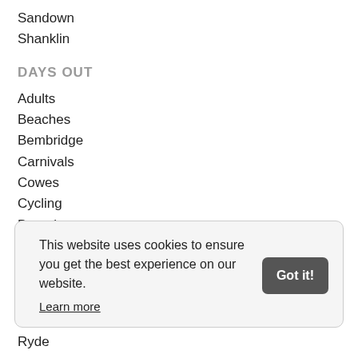Sandown
Shanklin
DAYS OUT
Adults
Beaches
Bembridge
Carnivals
Cowes
Cycling
Day trips
Dog friendly
Driving
Families
Festivals (partially visible)
This website uses cookies to ensure you get the best experience on our website. Learn more
Ryde (partially visible)